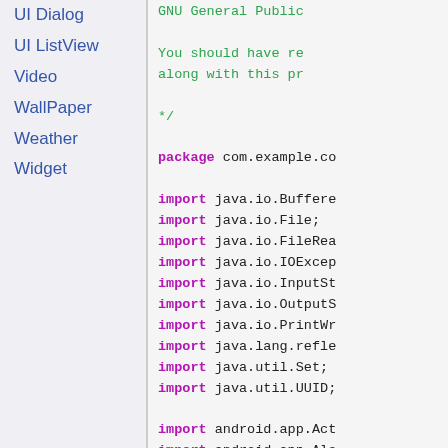UI Dialog
UI ListView
Video
WallPaper
Weather
Widget
GNU General Public

You should have received a copy...
along with this program...
*/

package com.example.co

import java.io.Buffered
import java.io.File;
import java.io.FileReader
import java.io.IOException
import java.io.InputSt
import java.io.OutputS
import java.io.PrintWr
import java.lang.refle
import java.util.Set;
import java.util.UUID;

import android.app.Act
import android.app.Ale
import android.app.Dia
import android.bluetoo